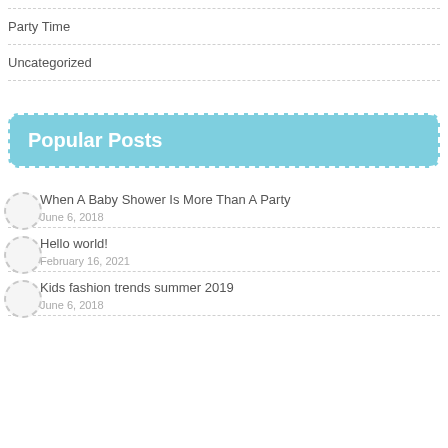Party Time
Uncategorized
Popular Posts
When A Baby Shower Is More Than A Party
June 6, 2018
Hello world!
February 16, 2021
Kids fashion trends summer 2019
June 6, 2018